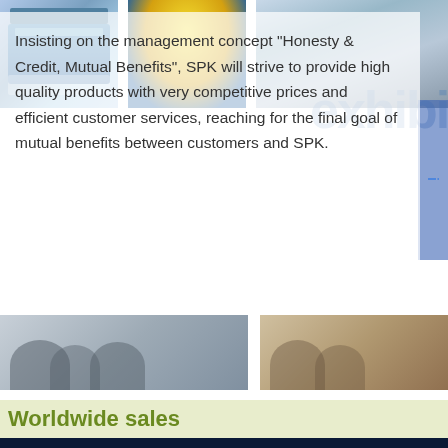[Figure (photo): Three photos showing battery products, exhibition booth with yellow dome, and people at an event]
Insisting on the management concept "Honesty & Credit, Mutual Benefits", SPK will strive to provide high quality products with very competitive prices and efficient customer services, reaching for the final goal of mutual benefits between customers and SPK.
Worldwide sales
[Figure (map): Dark blue world map showing worldwide sales coverage with a Chat Online button overlay]